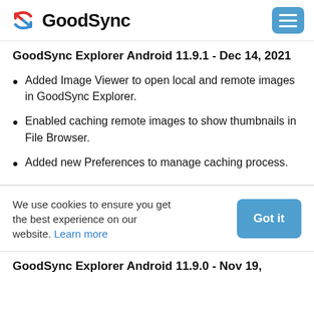GoodSync
GoodSync Explorer Android 11.9.1 - Dec 14, 2021
Added Image Viewer to open local and remote images in GoodSync Explorer.
Enabled caching remote images to show thumbnails in File Browser.
Added new Preferences to manage caching process.
We use cookies to ensure you get the best experience on our website. Learn more
GoodSync Explorer Android 11.9.0 - Nov 19,